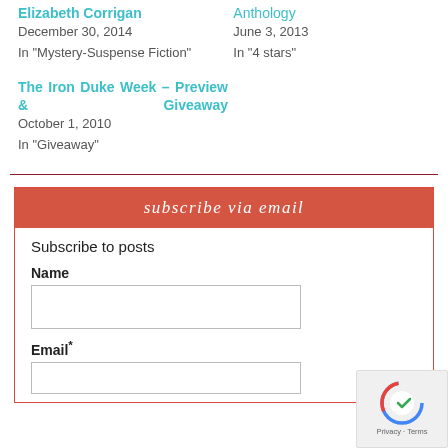Elizabeth Corrigan
December 30, 2014
In "Mystery-Suspense Fiction"
Anthology
June 3, 2013
In "4 stars"
The Iron Duke Week – Preview & Giveaway
October 1, 2010
In "Giveaway"
subscribe via email
Subscribe to posts
Name
Email*